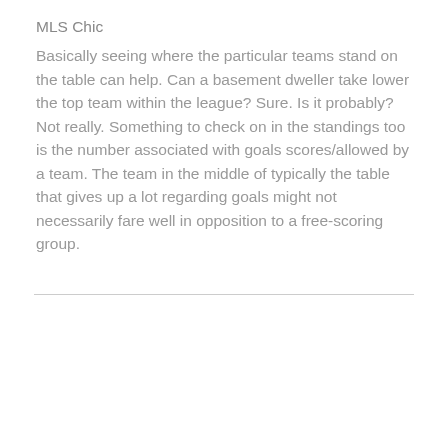MLS Chic
Basically seeing where the particular teams stand on the table can help. Can a basement dweller take lower the top team within the league? Sure. Is it probably? Not really. Something to check on in the standings too is the number associated with goals scores/allowed by a team. The team in the middle of typically the table that gives up a lot regarding goals might not necessarily fare well in opposition to a free-scoring group.
| Betting Exchange |  |
|  | Horse Racing Betting Strategy |